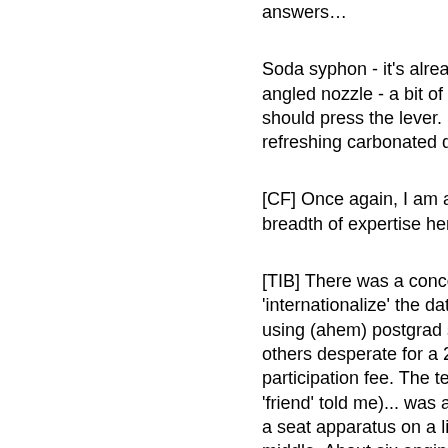answers…
—TIB, Feb
Soda syphon - it's already got the angled nozzle - a bit of cheek cle should press the lever. Et voilà - refreshing carbonated de-daggin
—AbsintheWithoutLeave, Feb
[CF] Once again, I am amazed a breadth of expertise here.
—hippo, Feb
[TIB] There was a concerted effo 'internationalize' the data collecti using (ahem) postgrad students a others desperate for a 2,000 yen participation fee. The test set up. 'friend' told me)... was a large ro a seat apparatus on a little stage middle. About six engineers pres Data collected by analysing vide footage and test subject interroga
[UB] Toto did try to get data from Australian females, but the Maps Tasmania skewed the data set to